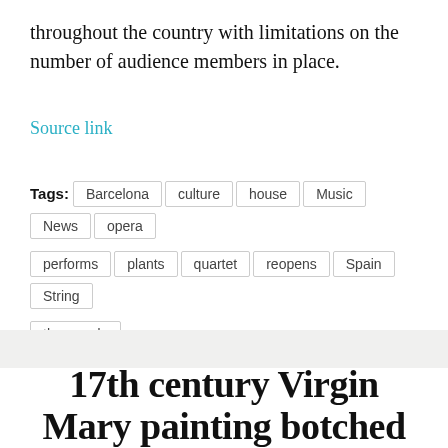throughout the country with limitations on the number of audience members in place.
Source link
Tags: Barcelona   culture   house   Music   News   opera   performs   plants   quartet   reopens   Spain   String   thousands
17th century Virgin Mary painting botched after being cleaned by 'furniture